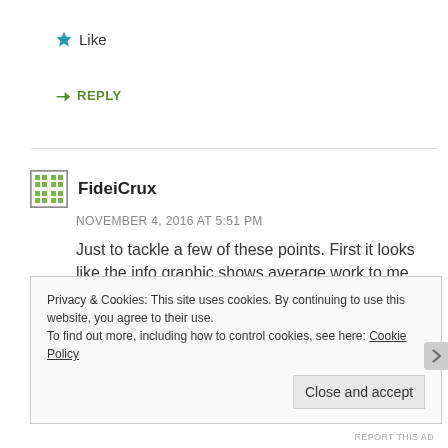★ Like
↪ REPLY
FideiCrux
NOVEMBER 4, 2016 AT 5:51 PM
Just to tackle a few of these points. First it looks like the info graphic shows average work to me.
Teachers in the high schools here are required to participate in several after school activities, such as
Privacy & Cookies: This site uses cookies. By continuing to use this website, you agree to their use.
To find out more, including how to control cookies, see here: Cookie Policy
Close and accept